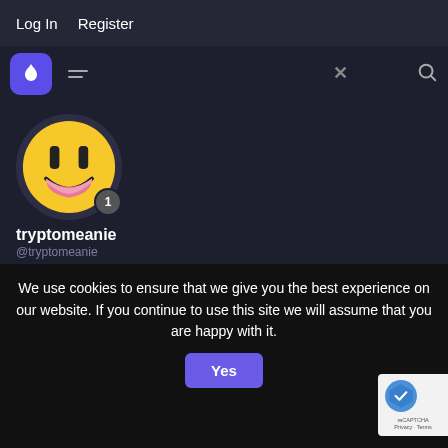Log In   Register
[Figure (screenshot): App navigation bar with flame logo icon, hamburger menu lines, and search icon]
[Figure (illustration): User avatar: yellow smiley face emoji with dark background, notification badge showing 1]
tryptomeanie
@tryptomeanie
PARTICIPANT
@General Lighting 986518 wrote:
Harm reduction books/infosheets from late 1980s and early 90s all warned that LSD loses its effect with short term repeated use, although back the good quality acid was a rare treat making binge
We use cookies to ensure that we give you the best experience on our website. If you continue to use this site we will assume that you are happy with it.